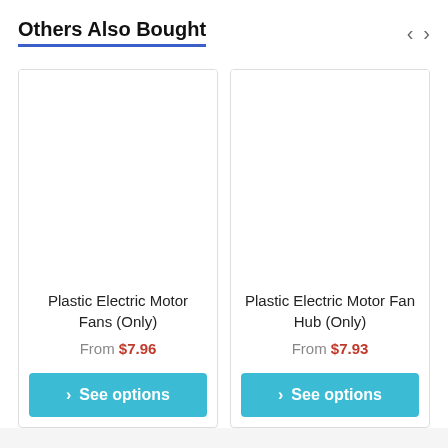Others Also Bought
Plastic Electric Motor Fans (Only)
From $7.96
Plastic Electric Motor Fan Hub (Only)
From $7.93